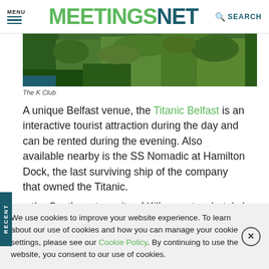MENU | MEETINGSNET | SEARCH
[Figure (photo): Aerial view of a green landscape with trees and water, partial view of The K Club]
The K Club
A unique Belfast venue, the Titanic Belfast is an interactive tourist attraction during the day and can be rented during the evening. Also available nearby is the SS Nomadic at Hamilton Dock, the last surviving ship of the company that owned the Titanic.
In the Southwestern city of Killarney, two hotels have updated
We use cookies to improve your website experience. To learn about our use of cookies and how you can manage your cookie settings, please see our Cookie Policy. By continuing to use the website, you consent to our use of cookies.